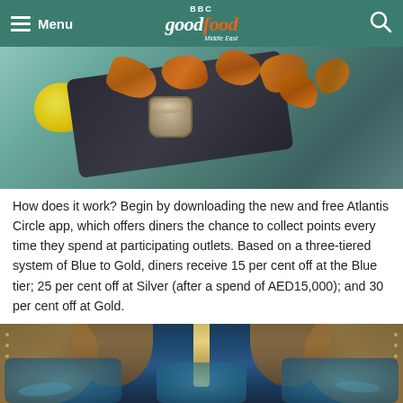BBC Good Food Middle East — Menu / Search
[Figure (photo): Overhead food photo showing roasted potato wedges on a dark slate board with a small dipping sauce cup and a lemon wedge, on a teal/blue-green background]
How does it work? Begin by downloading the new and free Atlantis Circle app, which offers diners the chance to collect points every time they spend at participating outlets. Based on a three-tiered system of Blue to Gold, diners receive 15 per cent off at the Blue tier; 25 per cent off at Silver (after a spend of AED15,000); and 30 per cent off at Gold.
[Figure (photo): Interior photo of an underwater-themed restaurant with ornate bronze/gold arched architecture and aquarium windows glowing in blue, with a chandelier in the center]